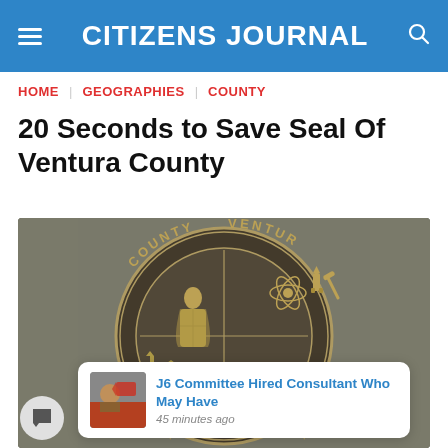CITIZENS JOURNAL
HOME | GEOGRAPHIES | COUNTY
20 Seconds to Save Seal Of Ventura County
[Figure (photo): Close-up photograph of the bronze Seal of Ventura County mounted on a stone surface, showing a friar figure in center and quadrants with symbols including an atom, rocket, hammer, oil derrick, sailboat, and fish. Overlaid with a blue notification bell icon with badge showing '3', and a popup notification reading 'J6 Committee Hired Consultant Who May Have' with a thumbnail image and timestamp '45 minutes ago'.]